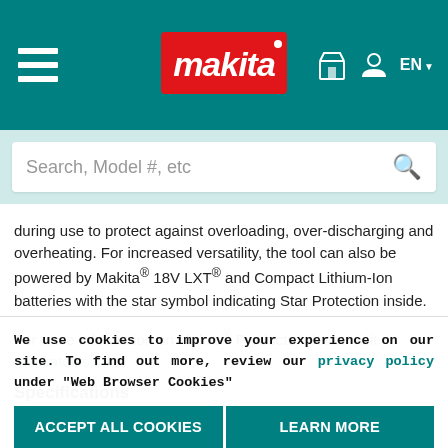Makita website header with hamburger menu, Makita logo, store icon, user icon, and EN language selector
during use to protect against overloading, over-discharging and overheating. For increased versatility, the tool can also be powered by Makita® 18V LXT® and Compact Lithium-Ion batteries with the star symbol indicating Star Protection inside.
For more information on Makita® Products, please visit makitatools.com
Specifications
| Model | XLC03R1BX4 | XLC03ZBX4 | XLC |
| --- | --- | --- | --- |
| Description | attributes | brushless | bru |
We use cookies to improve your experience on our site. To find out more, review our privacy policy under "Web Browser Cookies"
ACCEPT ALL COOKIES | LEARN MORE